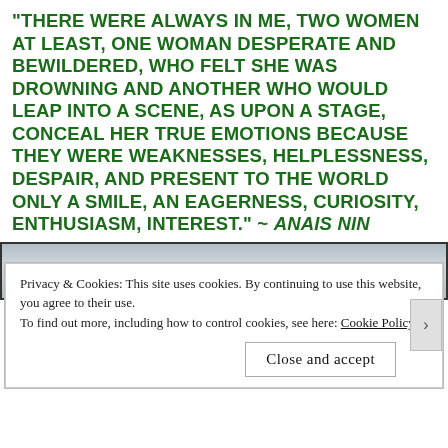“THERE WERE ALWAYS IN ME, TWO WOMEN AT LEAST, ONE WOMAN DESPERATE AND BEWILDERED, WHO FELT SHE WAS DROWNING AND ANOTHER WHO WOULD LEAP INTO A SCENE, AS UPON A STAGE, CONCEAL HER TRUE EMOTIONS BECAUSE THEY WERE WEAKNESSES, HELPLESSNESS, DESPAIR, AND PRESENT TO THE WORLD ONLY A SMILE, AN EAGERNESS, CURIOSITY, ENTHUSIASM, INTEREST.” ~ ANAIS NIN
[Figure (photo): A partially visible photograph with a grey/cloudy sky background, partially obscured by a white cookie consent banner overlaid on top.]
Privacy & Cookies: This site uses cookies. By continuing to use this website, you agree to their use.
To find out more, including how to control cookies, see here: Cookie Policy
Close and accept